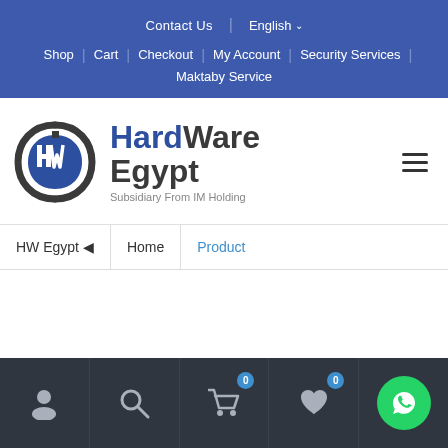Contact Us | English ▾
Shop | Cart | Checkout | My Account | Security Services | Maktaby Service
[Figure (logo): HardWare Egypt logo with circular HW icon and tagline 'Subsidiary From IM Holding']
HW Egypt ◂ | Home | Product